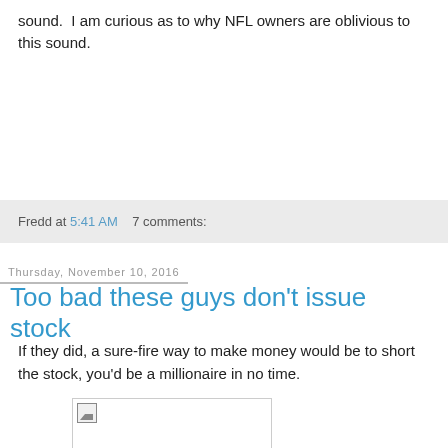sound.  I am curious as to why NFL owners are oblivious to this sound.
Fredd at 5:41 AM    7 comments:
Thursday, November 10, 2016
Too bad these guys don't issue stock
If they did, a sure-fire way to make money would be to short the stock, you'd be a millionaire in no time.
[Figure (photo): Broken/missing image placeholder in a white bordered box]